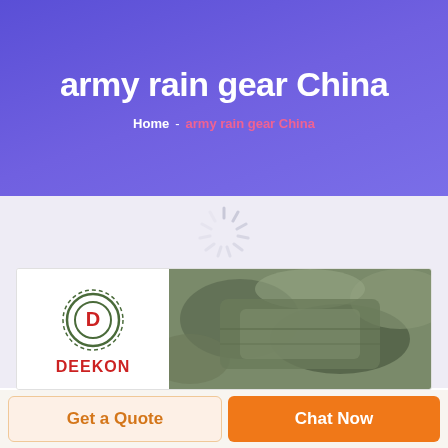army rain gear China
Home - army rain gear China
[Figure (illustration): Loading spinner icon (circular dashes in light gray)]
[Figure (logo): DEEKON logo with circular emblem containing letter D, accompanied by camouflage rain gear product image]
Get a Quote
Chat Now